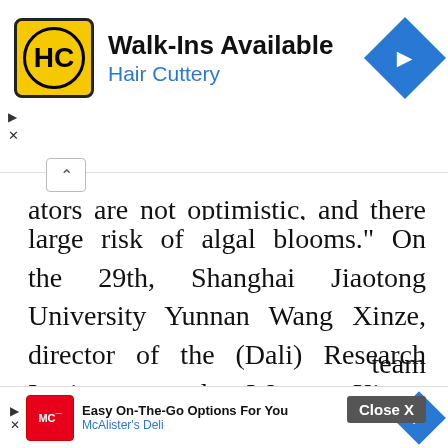[Figure (other): Hair Cuttery advertisement banner with logo, 'Walk-Ins Available' text, and navigation arrow icon]
ators are not optimistic, and there is still a large risk of algal blooms." On the 29th, Shanghai Jiaotong University Yunnan Wang Xinze, director of the (Dali) Research Institute, and Wang Xinze, director of the National Field Scientific Observation and Research Station of Erhai Lake Ecosystem in Yunnan, proposed at the symposium that the water quality of Erhai Lake must be closely monitored to prevent being "blinded" by the "illusion" of clear water bodies.
[Figure (other): McAlister's Deli advertisement banner with logo, 'Easy On-The-Go Options For You' text, and navigation arrow icon]
team